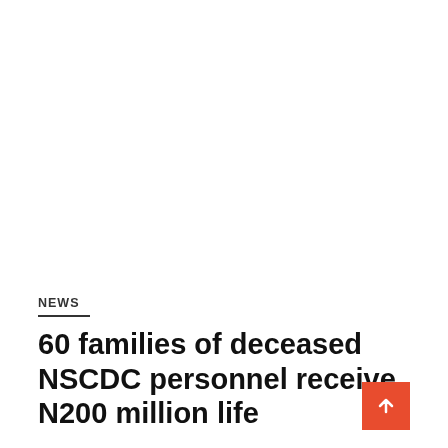NEWS
60 families of deceased NSCDC personnel receive N200 million life